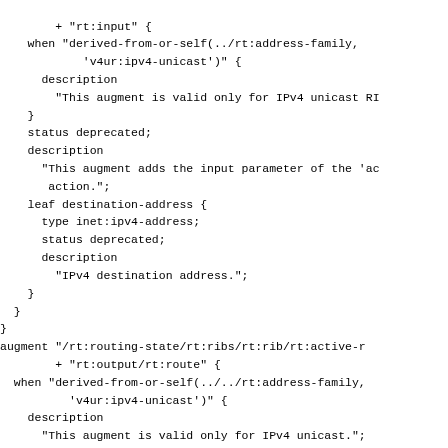Code block showing YANG augment definitions for IPv4 unicast routing with destination-address and destination-prefix leaf definitions, status deprecated statements, and when conditions using derived-from-or-self expressions.